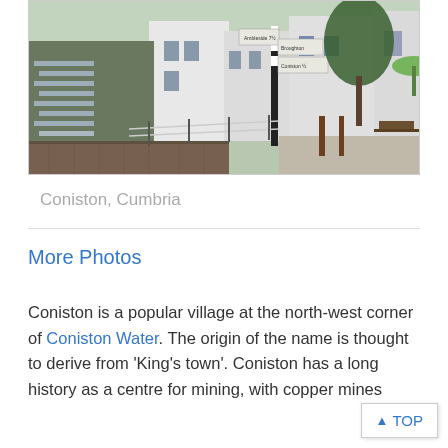[Figure (photo): A photograph of Coniston, Cumbria showing a stream with waterfalls running alongside white buildings, a signpost, trees, and outdoor seating area]
Coniston, Cumbria
More Photos
Coniston is a popular village at the north-west corner of Coniston Water. The origin of the name is thought to derive from 'King's town'. Coniston has a long history as a centre for mining, with copper mines